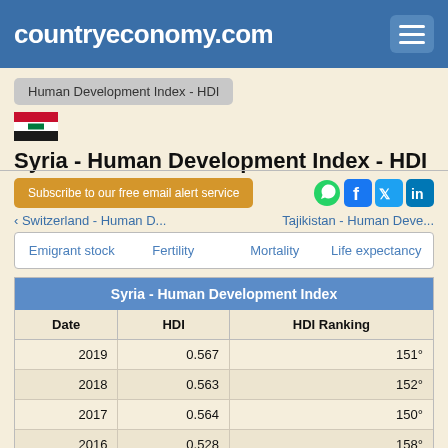countryeconomy.com
Human Development Index - HDI
Syria - Human Development Index - HDI
Subscribe to our free email alert service
‹ Switzerland - Human D...   Tajikistan - Human Deve...
Emigrant stock  Fertility  Mortality  Life expectancy
| Date | HDI | HDI Ranking |
| --- | --- | --- |
| 2019 | 0.567 | 151° |
| 2018 | 0.563 | 152° |
| 2017 | 0.564 | 150° |
| 2016 | 0.528 | 158° |